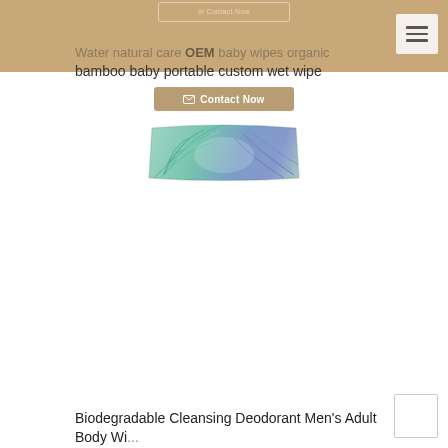[Figure (screenshot): Ghost/faded 'Contact Now' button at very top center on tan background]
[Figure (other): Hamburger menu icon button, top right corner, on beige/off-white square background]
Water natural care OEM baby wipes organic bamboo baby portable custom wet wipe
[Figure (other): Contact Now button with envelope icon, tan/brown color]
[Figure (photo): Product photo: a wet wipe package with tropical palm leaf design in teal, green, and purple tones]
Biodegradable Cleansing Deodorant Men's Adult Body Wi...